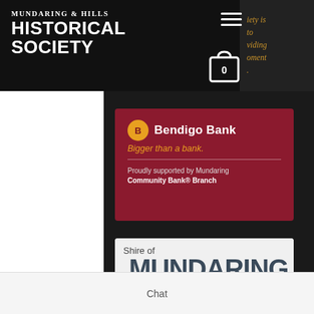Mundaring & Hills Historical Society
iety is to viding oment .
[Figure (logo): Bendigo Bank logo with tagline 'Bigger than a bank.' and text 'Proudly supported by Mundaring Community Bank® Branch']
[Figure (logo): Shire of Mundaring logo with colorful bar design]
Chat